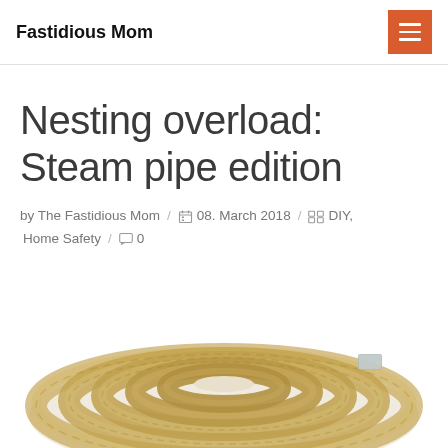Fastidious Mom
Nesting overload: Steam pipe edition
by The Fastidious Mom / 08. March 2018 / DIY, Home Safety / 0
[Figure (photo): A coiled roll of natural rope or jute twine, viewed from above and slightly to the side, with a small grey tag visible.]